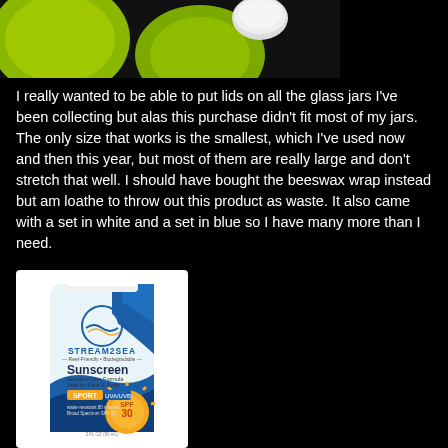[Figure (photo): Partial image of green/yellow circular objects (lids) with a white cap on black background, cropped at top of page]
I really wanted to be able to put lids on all the glass jars I've been collecting but alas this purchase didn't fit most of my jars. The only size that works is the smallest, which I've used now and then this year, but most of them are really large and don't stretch that well. I should have bought the beeswax wrap instead but am loathe to throw out this product as waste. It also came with a set in white and a set in blue so I have many more than I need.
[Figure (photo): Stream2Sea Sunscreen product tube — Reef-Friendly + Biodegradable, Sensitive Skin Formula, Safe for Face & Body, SPORT UVA/UVB, water-resistant 80 minutes, Broad Spectrum SPF 30, 3 FL OZ (90 mL)]